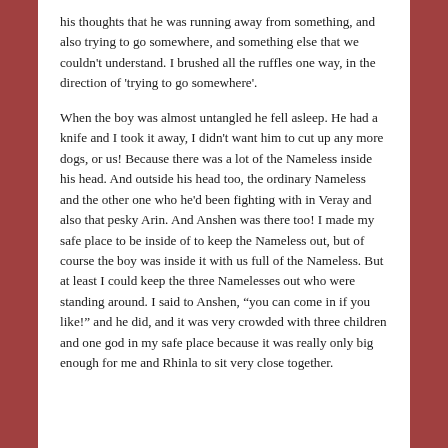his thoughts that he was running away from something, and also trying to go somewhere, and something else that we couldn't understand. I brushed all the ruffles one way, in the direction of 'trying to go somewhere'.
When the boy was almost untangled he fell asleep. He had a knife and I took it away, I didn't want him to cut up any more dogs, or us! Because there was a lot of the Nameless inside his head. And outside his head too, the ordinary Nameless and the other one who he'd been fighting with in Veray and also that pesky Arin. And Anshen was there too! I made my safe place to be inside of to keep the Nameless out, but of course the boy was inside it with us full of the Nameless. But at least I could keep the three Namelesses out who were standing around. I said to Anshen, “you can come in if you like!” and he did, and it was very crowded with three children and one god in my safe place because it was really only big enough for me and Rhinla to sit very close together.